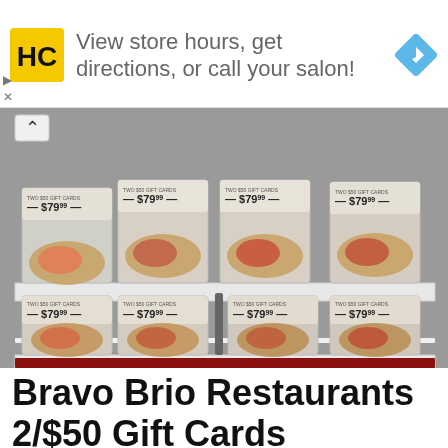[Figure (infographic): Advertisement banner with HC (Hair Club) yellow/black logo on left, text 'View store hours, get directions, or call your salon!' in grey, and a blue navigation/direction diamond icon on the right. Small play and X buttons on lower left.]
[Figure (photo): Photo of store shelf with multiple Bravo Brio restaurant gift card packages. Each package shows 'TWO $50 GIFT CARDS — $79.99 —' and features an image of a plated meal. Cards are arranged on two shelves, approximately 4 cards visible per shelf row.]
Bravo Brio Restaurants 2/$50 Gift Cards